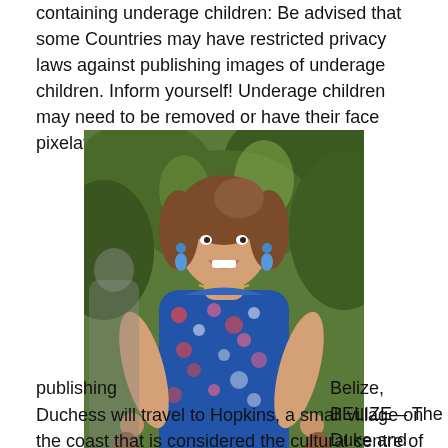containing underage children: Be advised that some Countries may have restricted privacy laws against publishing images of underage children. Inform yourself! Underage children may need to be removed or have their face pixelated before publishing
[Figure (photo): A woman in a blue floral dress smiling and holding two round objects, standing outdoors with tropical greenery in the background.]
Belize, BELIZE – The Duke and Duchess will travel to Hopkins, a small village on the coast that is considered the cultural centre of the Garifuna community in Belize. Here, Their Royal Highnesses will spend time with Garifuna people and witness a demonstration of Garifuna culture. They will then meet a small group of marine conservation specialists to learn more about Belize's unique marine environment. Pictured: Prince William and wife Kate Middleton, Catherine, Duchess of Cambridge BACKGRID USA 20 MARCH 2022 USA: +1 310 798 9111 / usasales@backgrid.com UK: +44 208 344 2007 /